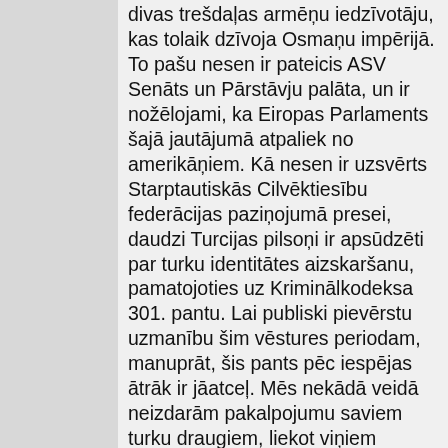divas trešdaļas armēņu iedzīvotāju, kas tolaik dzīvoja Osmaņu impērijā. To pašu nesen ir pateicis ASV Senāts un Pārstāvju palāta, un ir nožēlojami, ka Eiropas Parlaments šajā jautājumā atpaliek no amerikāņiem. Kā nesen ir uzsvērts Starptautiskās Cilvēktiesību federācijas paziņojumā presei, daudzi Turcijas pilsoņi ir apsūdzēti par turku identitātes aizskaršanu, pamatojoties uz Kriminālkodeksa 301. pantu. Lai publiski pievērstu uzmanību šim vēstures periodam, manuprāt, šis pants pēc iespējas ātrāk ir jāatceļ. Mēs nekādā veidā neizdarām pakalpojumu saviem turku draugiem, liekot viņiem aizmirst savu vēsturi. Šis atcerēšanās pienākums ir arī pienākums pret genocīdā izdzīvojušo ļaužu pēctečiem un pret starptautisko sabiedrību. Tāpēc es aicinu Parlamentu atbalstīt grozījumus